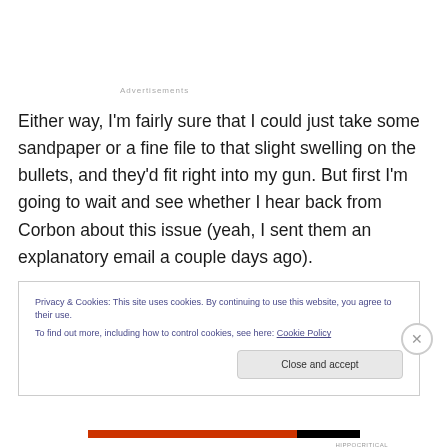Advertisements
Either way, I'm fairly sure that I could just take some sandpaper or a fine file to that slight swelling on the bullets, and they'd fit right into my gun. But first I'm going to wait and see whether I hear back from Corbon about this issue (yeah, I sent them an explanatory email a couple days ago).
Privacy & Cookies: This site uses cookies. By continuing to use this website, you agree to their use.
To find out more, including how to control cookies, see here: Cookie Policy
Close and accept